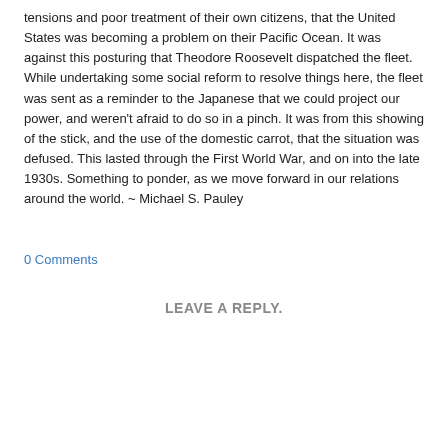tensions and poor treatment of their own citizens, that the United States was becoming a problem on their Pacific Ocean.  It was against this posturing that Theodore Roosevelt dispatched the fleet.  While undertaking some social reform to resolve things here, the fleet was sent as a reminder to the Japanese that we could project our power, and weren't afraid to do so in a pinch.  It was from this showing of the stick, and the use of the domestic carrot, that the situation was defused.  This lasted through the First World War, and on into the late 1930s.  Something to ponder, as we move forward in our relations around the world. ~ Michael S. Pauley
0 Comments
LEAVE A REPLY.